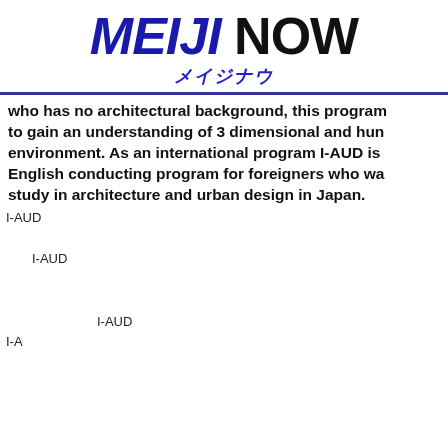MEIJI NOW メイジナウ
who has no architectural background, this program to gain an understanding of 3 dimensional and human environment. As an international program I-AUD is English conducting program for foreigners who want to study in architecture and urban design in Japan.
I-AUD（Japanese text block 1）
（Japanese text block 2）
（Japanese text block 3, I-AUD reference）
（Japanese text block 4）
（Japanese text block 5）
（Japanese text block 6, I-AUD and I-A references）
（Japanese text block 7）